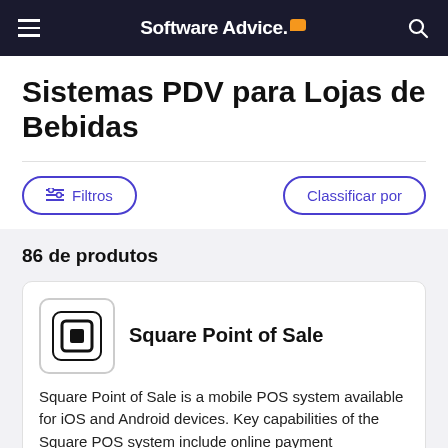Software Advice
Sistemas PDV para Lojas de Bebidas
Filtros
Classificar por
86 de produtos
Square Point of Sale
Square Point of Sale is a mobile POS system available for iOS and Android devices. Key capabilities of the Square POS system include online payment